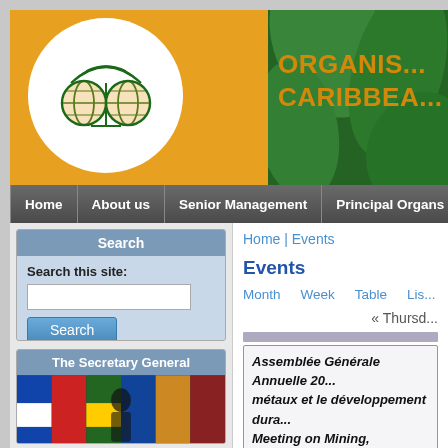[Figure (logo): ACP organization logo — circular emblem with globe/satellite motif in green and orange, inside a white circle on an orange/green banner background. Text partially visible: ORGANIS... CARIBBEA...]
ORGANIS... CARIBBEA...
[Figure (screenshot): Navigation bar with menu items: Home, About us, Senior Management, Principal Organs, Assoc...]
Search
Search this site:
Search
The Secretary General
Home | Events
Events
Month   Week   Table   Lis...
« Thursd...
Assemblée Générale Annuelle 20... métaux et le développement dura... Meeting on Mining, Minerals, Meta...